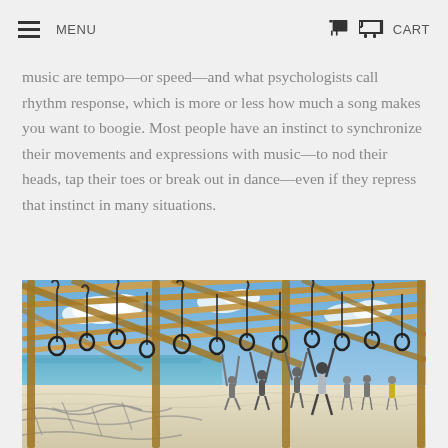MENU  CART
music are tempo—or speed—and what psychologists call rhythm response, which is more or less how much a song makes you want to boogie. Most people have an instinct to synchronize their movements and expressions with music—to nod their heads, tap their toes or break out in dance—even if they repress that instinct in many situations.
[Figure (photo): Outdoor obstacle course with gymnastic rings hanging from a wooden framework structure, people exercising beneath it near a lake on a sunny day with white sandy ground.]